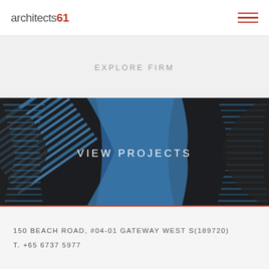architects61 [hamburger menu icon]
EXPLORE FIRM
[Figure (photo): Fisheye view looking up between two curved skyscrapers with blue and dark striped facade against a blue sky, with 'VIEW PROJECTS' text overlay]
150 BEACH ROAD, #04-01 GATEWAY WEST S(189720)
T. +65 6737 5977